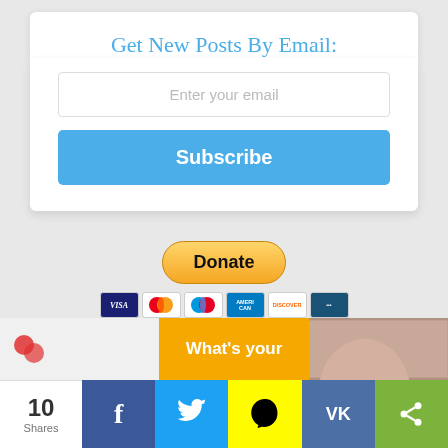Get New Posts By Email:
Enter your email
Subscribe
[Figure (other): PayPal Donate button with yellow/gold rounded rectangle style]
[Figure (other): Payment card icons: VISA, Mastercard, Maestro, American Express, Discover, and one more card brand]
Or donate using cryptocurrency
[Figure (other): Bottom social share bar with share counts and buttons for Facebook, Twitter, Snapchat, VK, and generic share. Shows 10 Shares.]
[Figure (other): Thumbnail strip with three preview images/tiles above the share bar]